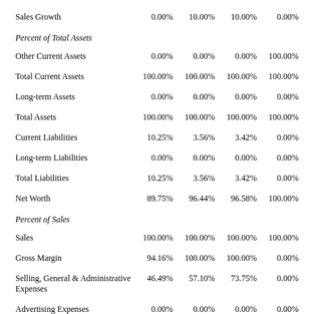|  |  |  |  |  |
| --- | --- | --- | --- | --- |
| Sales Growth | 0.00% | 10.00% | 10.00% | 0.00% |
| Percent of Total Assets |  |  |  |  |
| Other Current Assets | 0.00% | 0.00% | 0.00% | 100.00% |
| Total Current Assets | 100.00% | 100.00% | 100.00% | 100.00% |
| Long-term Assets | 0.00% | 0.00% | 0.00% | 0.00% |
| Total Assets | 100.00% | 100.00% | 100.00% | 100.00% |
| Current Liabilities | 10.25% | 3.56% | 3.42% | 0.00% |
| Long-term Liabilities | 0.00% | 0.00% | 0.00% | 0.00% |
| Total Liabilities | 10.25% | 3.56% | 3.42% | 0.00% |
| Net Worth | 89.75% | 96.44% | 96.58% | 100.00% |
| Percent of Sales |  |  |  |  |
| Sales | 100.00% | 100.00% | 100.00% | 100.00% |
| Gross Margin | 94.16% | 100.00% | 100.00% | 0.00% |
| Selling, General & Administrative Expenses | 46.49% | 57.10% | 73.75% | 0.00% |
| Advertising Expenses | 0.00% | 0.00% | 0.00% | 0.00% |